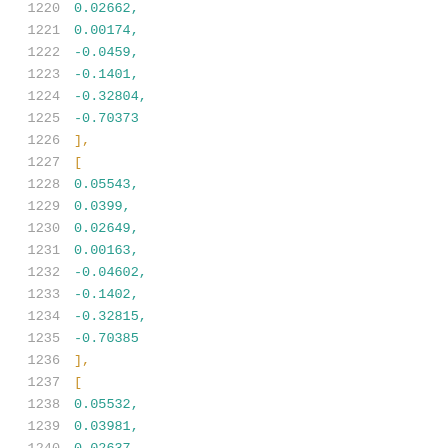Code listing lines 1220-1241 showing numeric array data with line numbers in gray, numeric values in teal/cyan, and bracket characters in orange/gold.